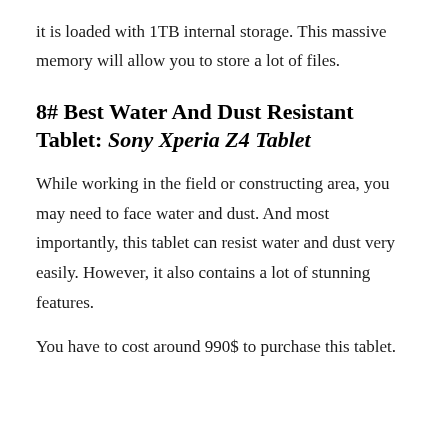it is loaded with 1TB internal storage. This massive memory will allow you to store a lot of files.
8# Best Water And Dust Resistant Tablet: Sony Xperia Z4 Tablet
While working in the field or constructing area, you may need to face water and dust. And most importantly, this tablet can resist water and dust very easily. However, it also contains a lot of stunning features.
You have to cost around 990$ to purchase this tablet.